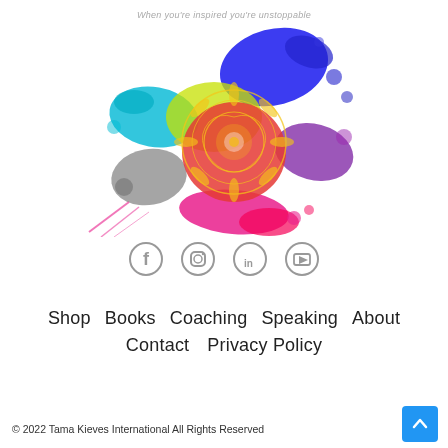[Figure (logo): Colorful paint splash mandala logo with text tagline 'When you're inspired you're unstoppable']
[Figure (infographic): Row of four social media icons: Facebook, Instagram, LinkedIn, YouTube, all in grey]
Shop   Books   Coaching   Speaking   About   Contact   Privacy Policy
© 2022 Tama Kieves International All Rights Reserved